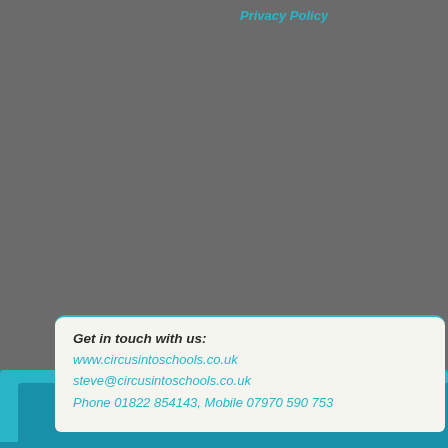Privacy Policy
Get in touch with us:
www.circusintoschools.co.uk
steve@circusintoschools.co.uk
Phone 01822 854143, Mobile 07970 590 753